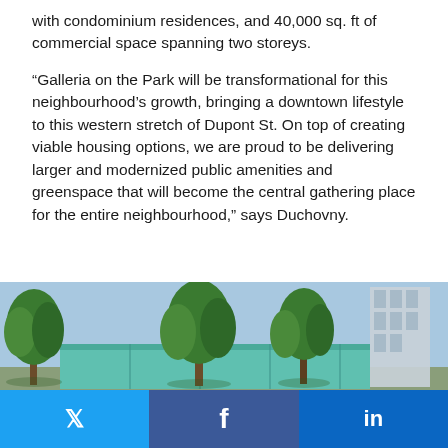with condominium residences, and 40,000 sq. ft of commercial space spanning two storeys.
“Galleria on the Park will be transformational for this neighbourhood’s growth, bringing a downtown lifestyle to this western stretch of Dupont St. On top of creating viable housing options, we are proud to be delivering larger and modernized public amenities and greenspace that will become the central gathering place for the entire neighbourhood,” says Duchovny.
[Figure (photo): Exterior architectural rendering of Galleria on the Park showing trees in the foreground, a modern low-rise building with teal/green facade, and a high-rise tower on the right.]
Social sharing bar with Twitter, Facebook, and LinkedIn buttons